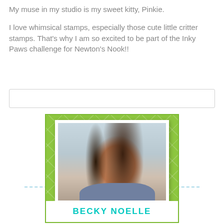My muse in my studio is my sweet kitty, Pinkie.

I love whimsical stamps, especially those cute little critter stamps. That's why I am so excited to be part of the Inky Paws challenge for Newton's Nook!!
[Figure (photo): Portrait photo of Becky Noelle displayed in a polaroid-style frame with a green argyle patterned background card. The name 'BECKY NOELLE' appears in teal/cyan text at the bottom of the card.]